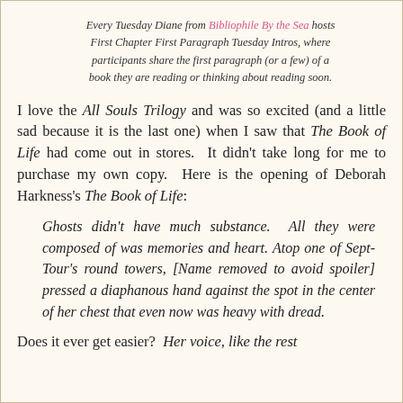Every Tuesday Diane from Bibliophile By the Sea hosts First Chapter First Paragraph Tuesday Intros, where participants share the first paragraph (or a few) of a book they are reading or thinking about reading soon.
I love the All Souls Trilogy and was so excited (and a little sad because it is the last one) when I saw that The Book of Life had come out in stores. It didn't take long for me to purchase my own copy. Here is the opening of Deborah Harkness's The Book of Life:
Ghosts didn't have much substance. All they were composed of was memories and heart. Atop one of Sept-Tour's round towers, [Name removed to avoid spoiler] pressed a diaphanous hand against the spot in the center of her chest that even now was heavy with dread.
Does it ever get easier? Her voice, like the rest